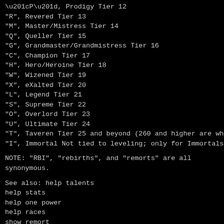“P”, Prodigy Tier 12
“R”, Revered Tier 13
“M”, Master/Mistress Tier 14
“Q”, Queller Tier 15
“G”, Grandmaster/Grandmistress Tier 16
“C”, Champion Tier 17
“H”, Hero/Heroine Tier 18
“W”, Wizened Tier 19
“X”, eXalted Tier 20
“L”, Legend Tier 21
“S”, Supreme Tier 22
“O”, Overlord Tier 23
“U”, Ultimate Tier 24
“T”, Taveren Tier 25 and beyond (260 and higher are white)
“I”, Immortal Not tied to leveling; only for Immortals
NOTE: “RBI”, “rebirths”, and “remorts” are all synonymous.
See also: help talents
help stats
help one power
help races
show remort